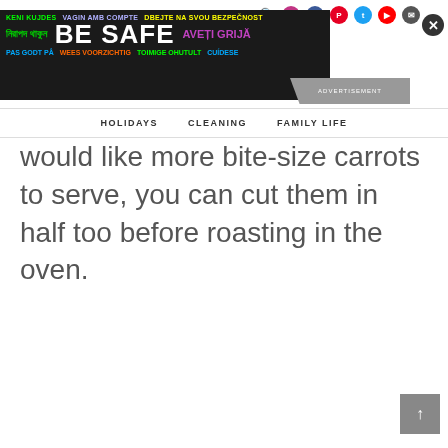[Figure (other): Website navigation bar with social media icons (search, Instagram, Facebook, Pinterest, Twitter, YouTube, email), a multilingual 'BE SAFE' advertisement banner in dark background, and navigation menu items: HOLIDAYS, CLEANING, FAMILY LIFE]
would like more bite-size carrots to serve, you can cut them in half too before roasting in the oven.